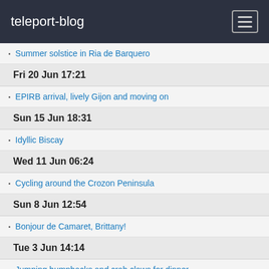teleport-blog
Summer solstice in Ria de Barquero
Fri 20 Jun 17:21
EPIRB arrival, lively Gijon and moving on
Sun 15 Jun 18:31
Idyllic Biscay
Wed 11 Jun 06:24
Cycling around the Crozon Peninsula
Sun 8 Jun 12:54
Bonjour de Camaret, Brittany!
Tue 3 Jun 14:14
Jumping humpbacks and crab claws for dinner
May 2014
Wed 28 May 15:24
Castlehaven
Sat 24 May 11:30